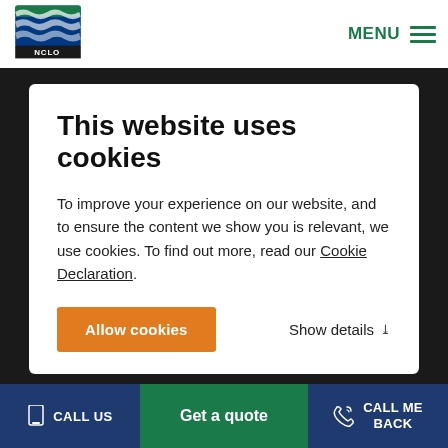[Figure (logo): NCLO organization logo with wave design in blue and green]
MENU
This website uses cookies
To improve your experience on our website, and to ensure the content we show you is relevant, we use cookies. To find out more, read our Cookie Declaration.
Allow cookies
Show details
Quick Links
About Us
Contacts
Careers
News
CALL US
Get a quote
CALL ME BACK